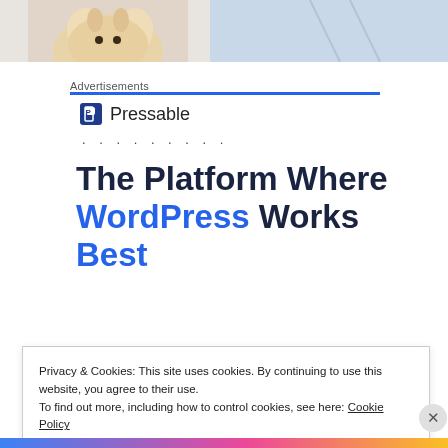[Figure (photo): Partial photo strip at top showing a cat face and light background]
Advertisements
[Figure (logo): Pressable logo — dark blue square icon with 'P' and the word 'Pressable']
. . . . . . . . .
The Platform Where WordPress Works Best
Privacy & Cookies: This site uses cookies. By continuing to use this website, you agree to their use.
To find out more, including how to control cookies, see here: Cookie Policy
Close and accept